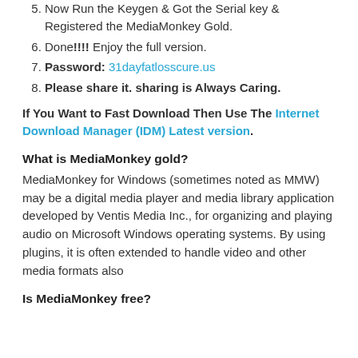5. Now Run the Keygen & Got the Serial key & Registered the MediaMonkey Gold.
6. Done!!!! Enjoy the full version.
7. Password: 31dayfatlosscure.us
8. Please share it. sharing is Always Caring.
If You Want to Fast Download Then Use The Internet Download Manager (IDM) Latest version.
What is MediaMonkey gold?
MediaMonkey for Windows (sometimes noted as MMW) may be a digital media player and media library application developed by Ventis Media Inc., for organizing and playing audio on Microsoft Windows operating systems. By using plugins, it is often extended to handle video and other media formats also
Is MediaMonkey free?